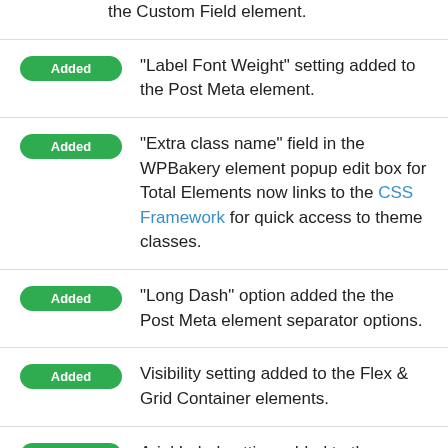the Custom Field element.
Added – "Label Font Weight" setting added to the Post Meta element.
Added – "Extra class name" field in the WPBakery element popup edit box for Total Elements now links to the CSS Framework for quick access to theme classes.
Added – "Long Dash" option added the the Post Meta element separator options.
Added – Visibility setting added to the Flex & Grid Container elements.
Added – Arial Label setting added to the Button element.